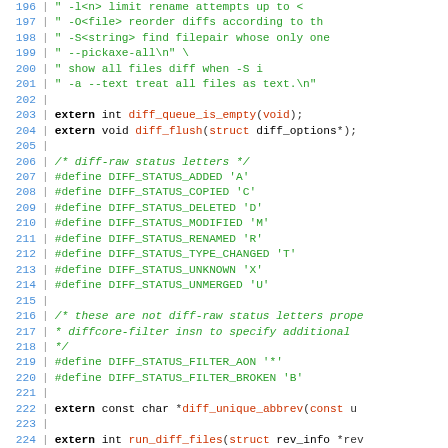[Figure (screenshot): Source code listing (C header file) showing lines 196-225, with line numbers in blue, code in black/green/red on white background. Contains string literals in green, extern declarations, #define preprocessor macros, and comments.]